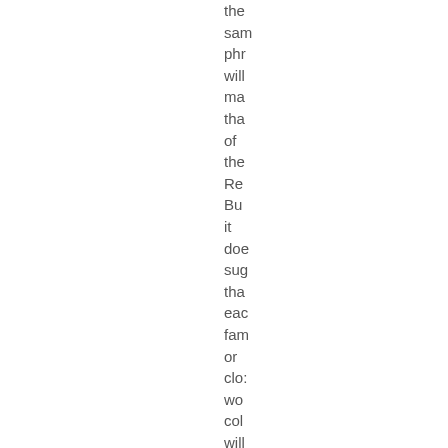the same phr will ma tha of the Re Bu it doe sug tha eac fam or clo: wo col will ove tim